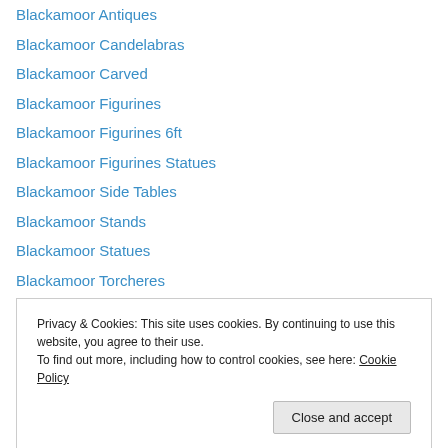Blackamoor Antiques
Blackamoor Candelabras
Blackamoor Carved
Blackamoor Figurines
Blackamoor Figurines 6ft
Blackamoor Figurines Statues
Blackamoor Side Tables
Blackamoor Stands
Blackamoor Statues
Blackamoor Torcheres
Blackamoors Female
Blonde Furniture
Blonde Shelf
Privacy & Cookies: This site uses cookies. By continuing to use this website, you agree to their use. To find out more, including how to control cookies, see here: Cookie Policy
Bono Hand Carved Tusks